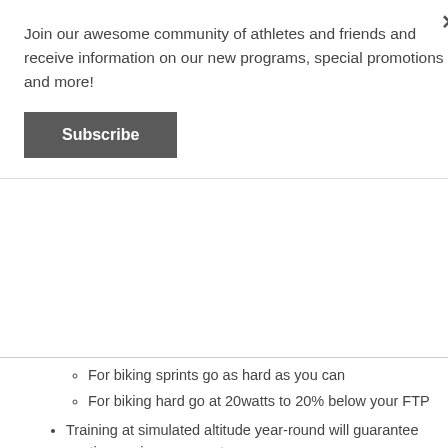Join our awesome community of athletes and friends and receive information on our new programs, special promotions and more!
Subscribe
For biking sprints go as hard as you can
For biking hard go at 20watts to 20% below your FTP
Training at simulated altitude year-round will guarantee continuous improvement.
Before competition, train for 4 to 6 weeks doing at least 2 sessions per week and 0-1 sessions on race weeks.
Hikers and climbers should train at simulated altitude at least 3 times a week- two high intensity sessions at 10,000 ft and one hike at 14,000 ft.